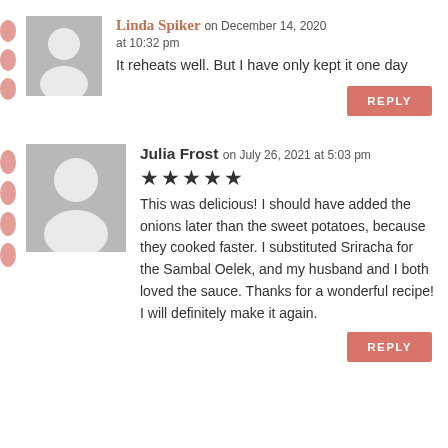Linda Spiker on December 14, 2020 at 10:32 pm
It reheats well. But I have only kept it one day
REPLY
Julia Frost on July 26, 2021 at 5:03 pm
★★★★★
This was delicious! I should have added the onions later than the sweet potatoes, because they cooked faster. I substituted Sriracha for the Sambal Oelek, and my husband and I both loved the sauce. Thanks for a wonderful recipe! I will definitely make it again.
REPLY